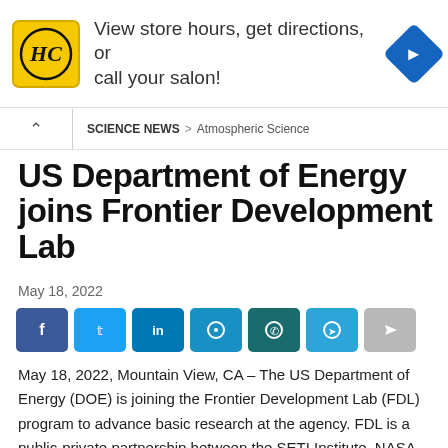[Figure (other): Advertisement banner for a hair salon: HC logo in yellow square, text 'View store hours, get directions, or call your salon!', blue diamond arrow icon on right]
SCIENCE NEWS > Atmospheric Science
US Department of Energy joins Frontier Development Lab
May 18, 2022
[Figure (other): Social sharing buttons: Facebook, Twitter, LinkedIn, Reddit, WhatsApp, Telegram, Share]
May 18, 2022, Mountain View, CA – The US Department of Energy (DOE) is joining the Frontier Development Lab (FDL) program to advance basic research at the agency. FDL is a public-private partnership between the SETI Institute, NASA, USGS, Google Cloud, Intel, Lockheed Martin, Nvidia, Trillium Technologies, and the US and...